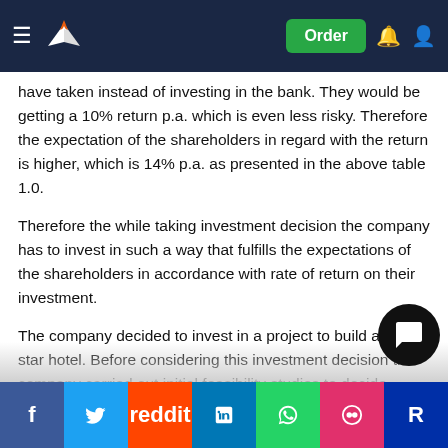Navigation bar with logo and Order button
have taken instead of investing in the bank. They would be getting a 10% return p.a. which is even less risky. Therefore the expectation of the shareholders in regard with the return is higher, which is 14% p.a. as presented in the above table 1.0.
Therefore the while taking investment decision the company has to invest in such a way that fulfills the expectations of the shareholders in accordance with rate of return on their investment.
The company decided to invest in a project to build a five star hotel. Before considering this investment decision the company carried out initial feasibility studies to decide whether to invest in construction and operations of 100 rooms or 50. The main purpose feasibility this study is to identify the... consider the investment risk, which is higher, t...